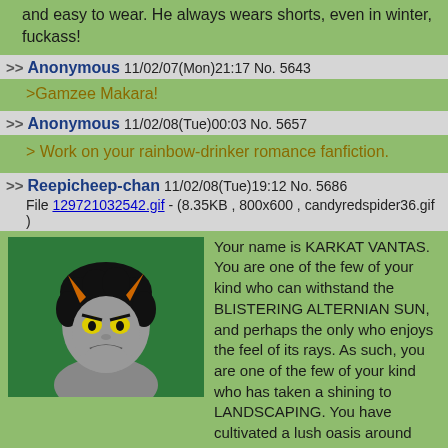and easy to wear. He always wears shorts, even in winter, fuckass!
>> Anonymous 11/02/07(Mon)21:17 No. 5643
>Gamzee Makara!
>> Anonymous 11/02/08(Tue)00:03 No. 5657
> Work on your rainbow-drinker romance fanfiction.
>> Reepicheep-chan 11/02/08(Tue)19:12 No. 5686
File 129721032542.gif - (8.35KB , 800x600 , candyredspider36.gif )
Your name is KARKAT VANTAS. You are one of the few of your kind who can withstand the BLISTERING ALTERNIAN SUN, and perhaps the only who enjoys the feel of its rays. As such, you are one of the few of your kind who has taken a shining to LANDSCAPING. You have cultivated a lush oasis around your hive, and in particular, you have honed your craft through the art of TOPIARY, sculpting your trees to match the PUFFY ORACLES from your dreams. For this
[Figure (illustration): Karkat Vantas character illustration on green background, showing a troll with black hair, grey skin, orange horns, and yellow eyes with an angry expression]